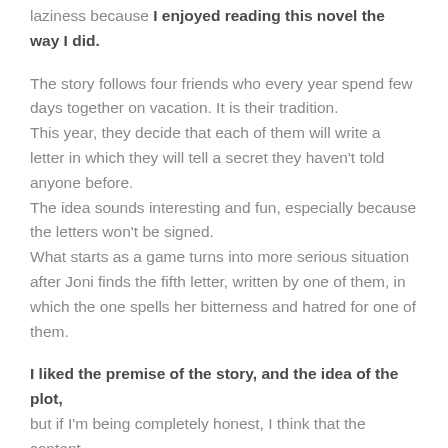laziness because I enjoyed reading this novel the way I did.
The story follows four friends who every year spend few days together on vacation. It is their tradition.
This year, they decide that each of them will write a letter in which they will tell a secret they haven't told anyone before.
The idea sounds interesting and fun, especially because the letters won't be signed.
What starts as a game turns into more serious situation after Joni finds the fifth letter, written by one of them, in which the one spells her bitterness and hatred for one of them.
I liked the premise of the story, and the idea of the plot, but if I'm being completely honest, I think that the content